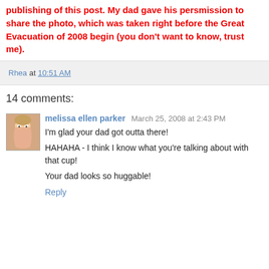Disclaimer: No old or sick people were offended in the publishing of this post. My dad gave his persmission to share the photo, which was taken right before the Great Evacuation of 2008 begin (you don't want to know, trust me).
Rhea at 10:51 AM
14 comments:
melissa ellen parker March 25, 2008 at 2:43 PM
I'm glad your dad got outta there!
HAHAHA - I think I know what you're talking about with that cup!
Your dad looks so huggable!
Reply